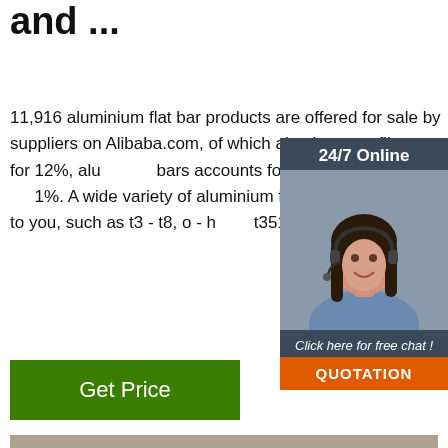and ...
11,916 aluminium flat bar products are offered for sale by suppliers on Alibaba.com, of which aluminum profiles accounts for 12%, aluminum bars accounts for 8%, and flat steel accounts for 1%. A wide variety of aluminium flat bar options are available to you, such as t3 - t8, o - h112, t351 - t651.
[Figure (other): Sidebar widget with 24/7 Online label, woman with headset photo, Click here for free chat! text, and QUOTATION button]
Get Price
[Figure (photo): Photo of metal bars/rods stacked in a warehouse setting with TOP badge overlay]